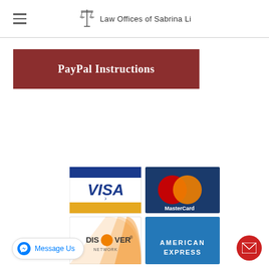Law Offices of Sabrina Li
PayPal Instructions
[Figure (logo): Payment method logos: Visa, MasterCard, Discover Network, American Express]
[Figure (illustration): Facebook Messenger 'Message Us' button (bottom left)]
[Figure (illustration): Red circular email button (bottom right)]